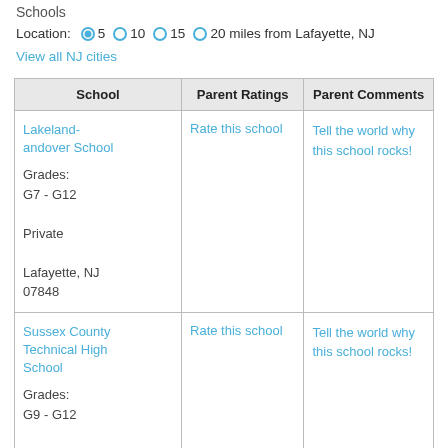Schools
Location: 5  10  15  20 miles from Lafayette, NJ
View all NJ cities
| School | Parent Ratings | Parent Comments |
| --- | --- | --- |
| Lakeland-andover School
Grades:
G7 - G12
Private
Lafayette, NJ 07848 | Rate this school | Tell the world why this school rocks! |
| Sussex County Technical High School
Grades:
G9 - G12
Public
Ogden, NJ 07871 | Rate this school | Tell the world why this school rocks! |